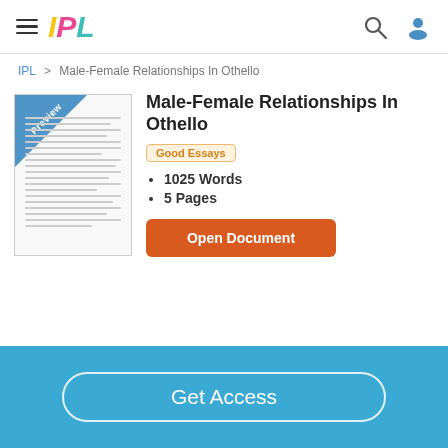IPL
IPL > Male-Female Relationships In Othello
Male-Female Relationships In Othello
Good Essays
1025 Words
5 Pages
Open Document
Get Access